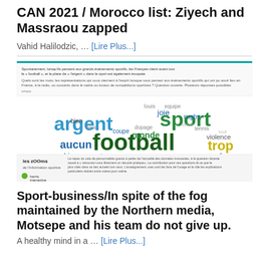CAN 2021 / Morocco list: Ziyech and Massraou zapped
Vahid Halilodzic, … [Lire Plus...]
[Figure (infographic): Word cloud infographic about French sports associations, featuring words like argent, sport, football, trop, competition, interet, monde, aucun, ambiance, supporter, violence, joie in various colors and sizes. Includes a header text block and a footer with 'les zOOms' and 'harris interactive' branding.]
Sport-business/In spite of the fog maintained by the Northern media, Motsepe and his team do not give up.
A healthy mind in a … [Lire Plus...]